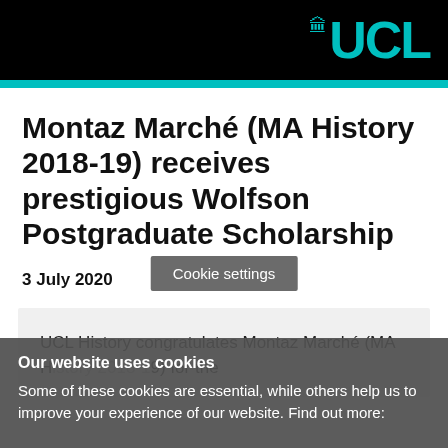UCL
Montaz Marché (MA History 2018-19) receives prestigious Wolfson Postgraduate Scholarship
3 July 2020
UCL History congratulates Montaz Marché (MA History 2018-19) for the
Cookie settings
Our website uses cookies
Some of these cookies are essential, while others help us to improve your experience of our website. Find out more: